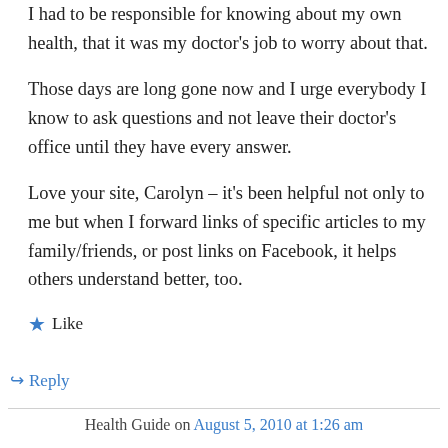I had to be responsible for knowing about my own health, that it was my doctor's job to worry about that.
Those days are long gone now and I urge everybody I know to ask questions and not leave their doctor's office until they have every answer.
Love your site, Carolyn – it's been helpful not only to me but when I forward links of specific articles to my family/friends, or post links on Facebook, it helps others understand better, too.
★ Like
↳ Reply
Health Guide on August 5, 2010 at 1:26 am